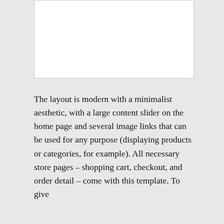[Figure (other): White rectangular image placeholder box with light border]
The layout is modern with a minimalist aesthetic, with a large content slider on the home page and several image links that can be used for any purpose (displaying products or categories, for example). All necessary store pages – shopping cart, checkout, and order detail – come with this template. To give